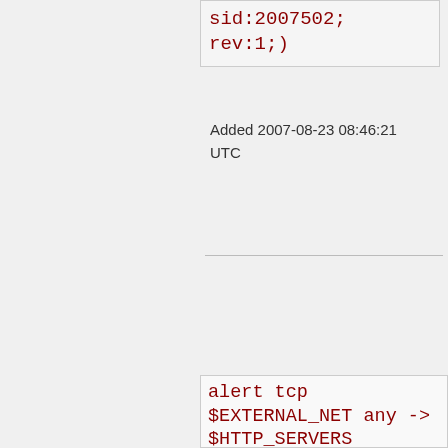sid:2007502; rev:1;)
Added 2007-08-23 08:46:21 UTC
alert tcp $EXTERNAL_NET any -> $HTTP_SERVERS $HTTP_PORTS (msg:"BLEEDING-EDGE WEB ActiveNews? Manager SQL Injection Attempt -- activenews_search.asp query DELETE"; flow:established,to_server; uricontent:"/activenews_s nocase;